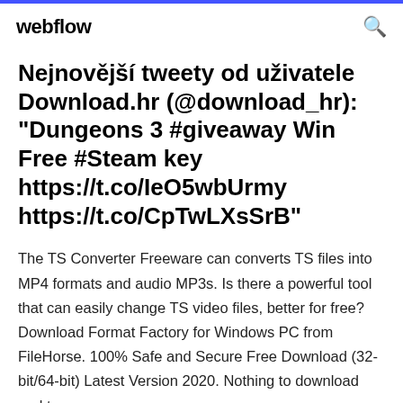webflow
Nejnovější tweety od uživatele Download.hr (@download_hr): "Dungeons 3 #giveaway Win Free #Steam key https://t.co/IeO5wbUrmy https://t.co/CpTwLXsSrB"
The TS Converter Freeware can converts TS files into MP4 formats and audio MP3s. Is there a powerful tool that can easily change TS video files, better for free? Download Format Factory for Windows PC from FileHorse. 100% Safe and Secure Free Download (32-bit/64-bit) Latest Version 2020. Nothing to download and to